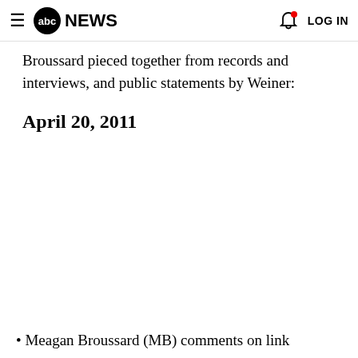≡ abcNEWS   🔔 LOG IN
Broussard pieced together from records and interviews, and public statements by Weiner:
April 20, 2011
• Meagan Broussard (MB) comments on link